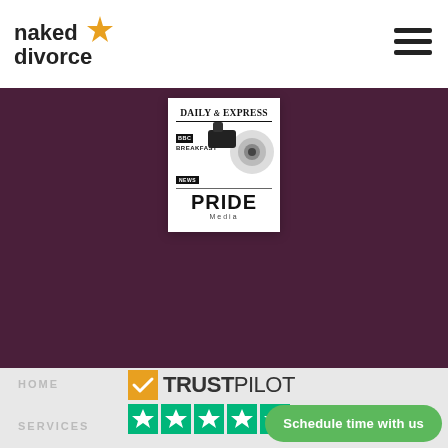[Figure (logo): Naked Divorce logo with orange star icon, text 'naked divorce' in bold dark font]
[Figure (illustration): Navigation hamburger menu icon (three horizontal lines)]
[Figure (photo): Media coverage card showing Daily Express, BBC Breakfast, BBC News, and PRIDE Media logos on white card against purple background]
[Figure (logo): Trustpilot logo with orange checkmark and TRUSTPILOT text]
[Figure (infographic): Trustpilot green star rating boxes (5 boxes with stars)]
HOME
SERVICES
Schedule time with us